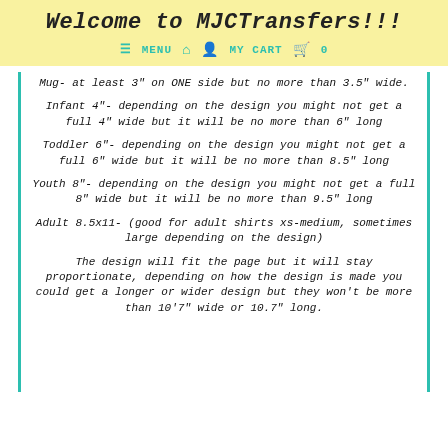Welcome to MJCTransfers!!!
≡ MENU  🏠  👤  MY CART  🛍  0
Mug- at least 3" on ONE side but no more than 3.5" wide.
Infant 4"- depending on the design you might not get a full 4" wide but it will be no more than 6" long
Toddler 6"- depending on the design you might not get a full 6" wide but it will be no more than 8.5" long
Youth 8"- depending on the design you might not get a full 8" wide but it will be no more than 9.5" long
Adult 8.5x11- (good for adult shirts xs-medium, sometimes large depending on the design)
The design will fit the page but it will stay proportionate, depending on how the design is made you could get a longer or wider design but they won't be more than 10'7" wide or 10.7" long.